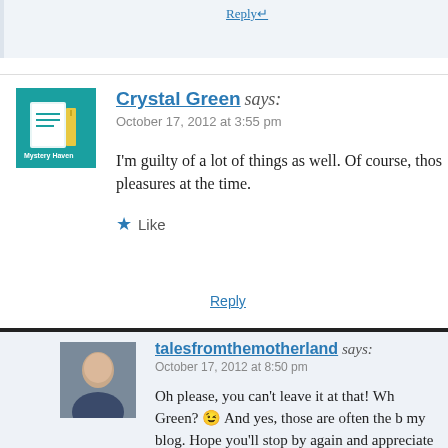Reply↵
Crystal Green says:
October 17, 2012 at 3:55 pm

I'm guilty of a lot of things as well. Of course, those were pleasures at the time.
★ Like
Reply
talesfromthemotherland says:
October 17, 2012 at 8:50 pm

Oh please, you can't leave it at that! Wh Green? 😉 And yes, those are often the b my blog. Hope you'll stop by again and appreciate the comment, and time.